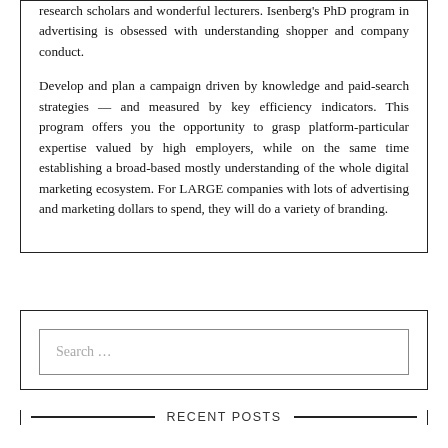research scholars and wonderful lecturers. Isenberg's PhD program in advertising is obsessed with understanding shopper and company conduct.

Develop and plan a campaign driven by knowledge and paid-search strategies — and measured by key efficiency indicators. This program offers you the opportunity to grasp platform-particular expertise valued by high employers, while on the same time establishing a broad-based mostly understanding of the whole digital marketing ecosystem. For LARGE companies with lots of advertising and marketing dollars to spend, they will do a variety of branding.
Search …
RECENT POSTS